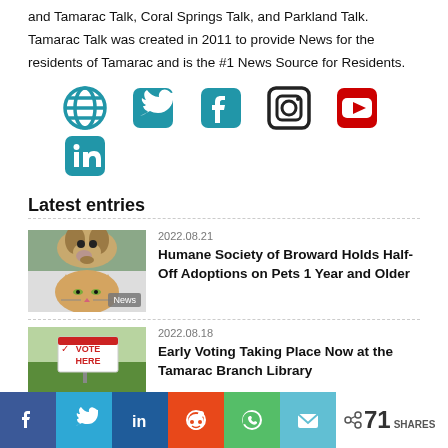and Tamarac Talk, Coral Springs Talk, and Parkland Talk. Tamarac Talk was created in 2011 to provide News for the residents of Tamarac and is the #1 News Source for Residents.
[Figure (infographic): Social media icons: globe/website, Twitter, Facebook, Instagram, YouTube, LinkedIn]
Latest entries
[Figure (photo): Thumbnail of a dog and cat (Humane Society article)]
2022.08.21
Humane Society of Broward Holds Half-Off Adoptions on Pets 1 Year and Older
[Figure (photo): Thumbnail of a Vote Here sign on grass (Early Voting article)]
2022.08.18
Early Voting Taking Place Now at the Tamarac Branch Library
[Figure (infographic): Share bar with Facebook, Twitter, LinkedIn, Reddit, WhatsApp, Email buttons and share count 71 SHARES]